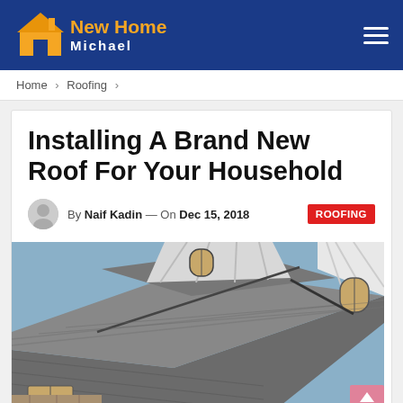New Home Michael
Home > Roofing >
Installing A Brand New Roof For Your Household
By Naif Kadin — On Dec 15, 2018 ROOFING
[Figure (photo): Photograph of a residential house roof with grey/brown shingles, multiple roof peaks, white siding, and arched windows]